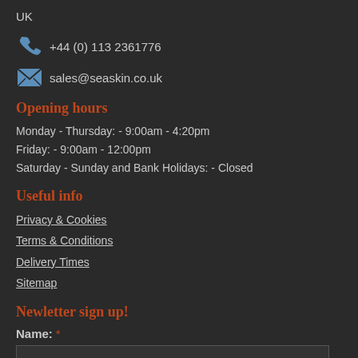UK
+44 (0) 113 2361776
sales@seaskin.co.uk
Opening hours
Monday - Thursday: - 9:00am - 4:20pm
Friday: - 9:00am - 12:00pm
Saturday - Sunday and Bank Holidays: - Closed
Useful info
Privacy & Cookies
Terms & Conditions
Delivery Times
Sitemap
Newletter sign up!
Name: *